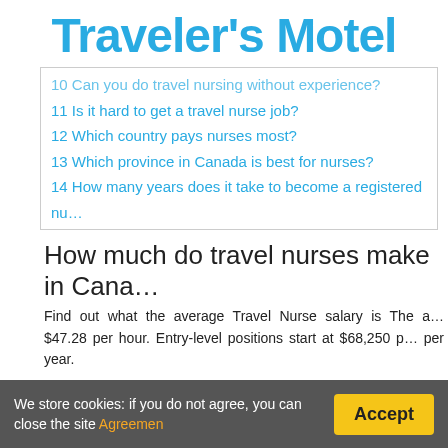Traveler's Motel
10 Can you do travel nursing without experience?
11 Is it hard to get a travel nurse job?
12 Which country pays nurses most?
13 Which province in Canada is best for nurses?
14 How many years does it take to become a registered nu…
How much do travel nurses make in Cana…
Find out what the average Travel Nurse salary is The a… $47.28 per hour. Entry-level positions start at $68,250 p… per year.
Does Canada have travel nurses?
Working as a travel nurse in Canada allows you to go wh… in your preferred specialty. Get higher-than-average sala…
We store cookies: if you do not agree, you can close the site Agreemen